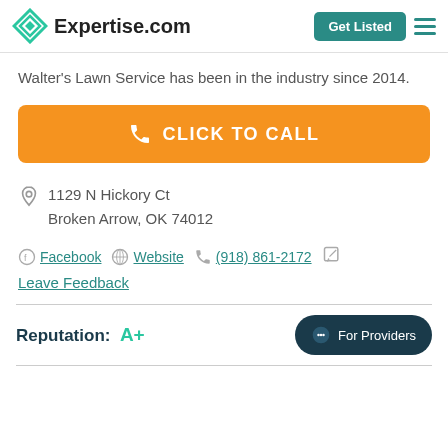Expertise.com — Get Listed
Walter's Lawn Service has been in the industry since 2014.
CLICK TO CALL
1129 N Hickory Ct
Broken Arrow, OK 74012
Facebook  Website  (918) 861-2172
Leave Feedback
Reputation: A+
For Providers